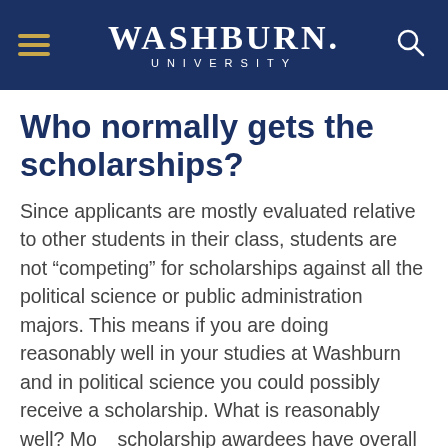Washburn University
Who normally gets the scholarships?
Since applicants are mostly evaluated relative to other students in their class, students are not “competing” for scholarships against all the political science or public administration majors. This means if you are doing reasonably well in your studies at Washburn and in political science you could possibly receive a scholarship. What is reasonably well? Most scholarship awardees have overall GPA’s of 3.0 or above and usually have higher political science GPA’s. However, involvement in